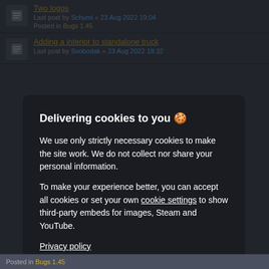Two logos — Last post by Schumi « 23 Aug 2022 19:04 — Posted in Bugs 1.45
Adding a interior to standalone truck — Last post by Svobodak « 23 Aug 2022 18:32
Delivering cookies to you 🍪
We use only strictly necessary cookies to make the site work. We do not collect nor share your personal information.
To make your experience better, you can accept all cookies or set your own cookie settings to show third-party embeds for images, Steam and YouTube.
Privacy policy
Accept all
Reject optional
Posted in Bugs 1.45